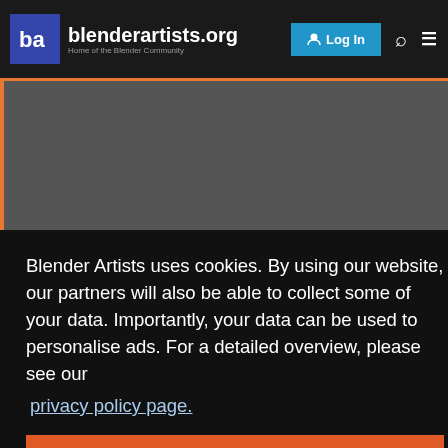[Figure (screenshot): blenderartists.org website header with logo, Log In button, search and menu icons]
Blender Artists uses cookies. By using our website, our partners will also be able to collect some of your data. Importantly, your data can be used to personalise ads. For a detailed overview, please see our
privacy policy page.
Got it!